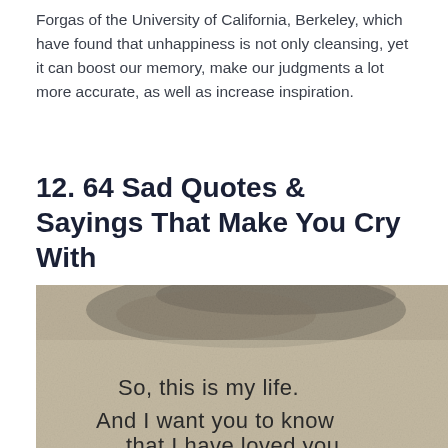Forgas of the University of California, Berkeley, which have found that unhappiness is not only cleansing, yet it can boost our memory, make our judgments a lot more accurate, as well as increase inspiration.
12. 64 Sad Quotes & Sayings That Make You Cry With
[Figure (photo): A textured beige/brown surface (aged paper or stone) with text overlaid: 'So, this is my life. And I want you to know' and a partially visible third line at the bottom.]